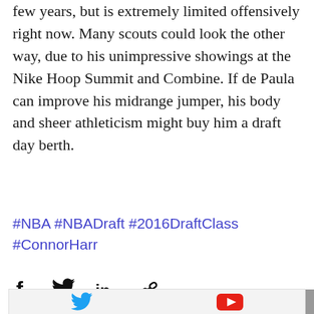few years, but is extremely limited offensively right now. Many scouts could look the other way, due to his unimpressive showings at the Nike Hoop Summit and Combine. If de Paula can improve his midrange jumper, his body and sheer athleticism might buy him a draft day berth.
#NBA #NBADraft #2016DraftClass #ConnorHarr
[Figure (other): Social sharing icons: Facebook, Twitter, LinkedIn, link/copy]
[Figure (other): Back to top button (grey square with upward chevron)]
[Figure (other): Bottom bar with Twitter bird icon (blue) and YouTube play button icon (red)]